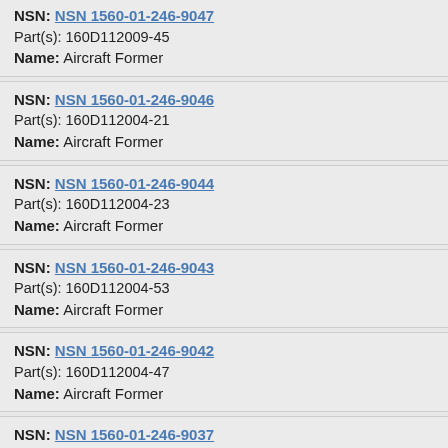NSN: NSN 1560-01-246-9047
Part(s): 160D112009-45
Name: Aircraft Former
NSN: NSN 1560-01-246-9046
Part(s): 160D112004-21
Name: Aircraft Former
NSN: NSN 1560-01-246-9044
Part(s): 160D112004-23
Name: Aircraft Former
NSN: NSN 1560-01-246-9043
Part(s): 160D112004-53
Name: Aircraft Former
NSN: NSN 1560-01-246-9042
Part(s): 160D112004-47
Name: Aircraft Former
NSN: NSN 1560-01-246-9037
Part(s): 160D112005-25
Name: Aircraft Former